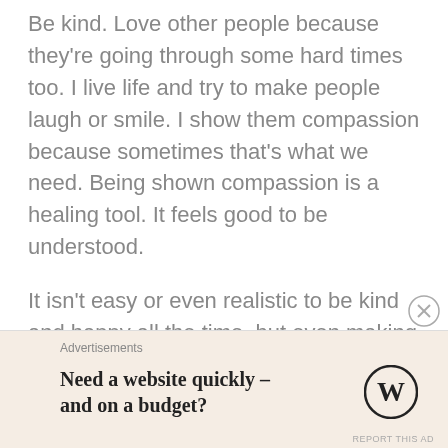Be kind. Love other people because they're going through some hard times too. I live life and try to make people laugh or smile. I show them compassion because sometimes that's what we need. Being shown compassion is a healing tool. It feels good to be understood.
It isn't easy or even realistic to be kind and happy all the time, but even making the effort to be more kind to people is a good thing. Showing the willingness to be more conscious of how you treat someone shows true growth. It helps you to achieve your best self.
Advertisements
Need a website quickly – and on a budget?